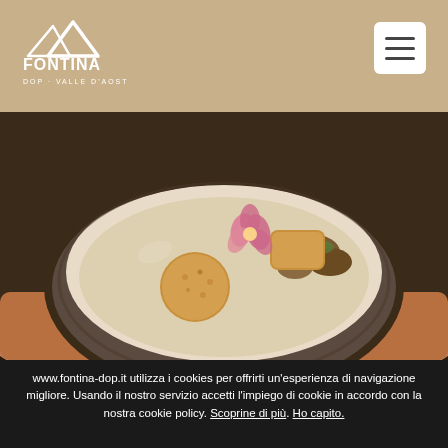Fontina DOP - Valle d'Aosta
[Figure (photo): Hands holding a ceramic bowl containing polenta concia with a breaded ball, sautéed mushrooms, a pink edible flower, and a creamy white sauce]
Agostino Buillas – My polenta concia
www.fontina-dop.it utilizza i cookies per offrirti un'esperienza di navigazione migliore. Usando il nostro servizio accetti l'impiego di cookie in accordo con la nostra cookie policy. Scoprine di più. Ho capito.